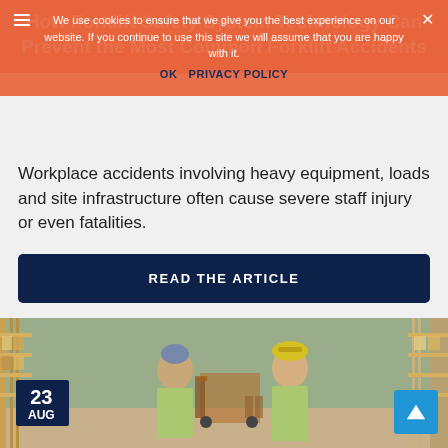How Forklift Safety System Technology Can Prevent the Most Common Forklift Accidents
We use cookies to ensure that we give you the best experience on our website. If you continue to use this site we will assume that you are happy with it.
OK  PRIVACY POLICY
Workplace accidents involving heavy equipment, loads and site infrastructure often cause severe staff injury or even fatalities.
READ THE ARTICLE
[Figure (photo): Two warehouse workers in high-visibility vests and hard hats smiling in a warehouse with shelving and a forklift in the background. Date badge shows 23 AUG.]